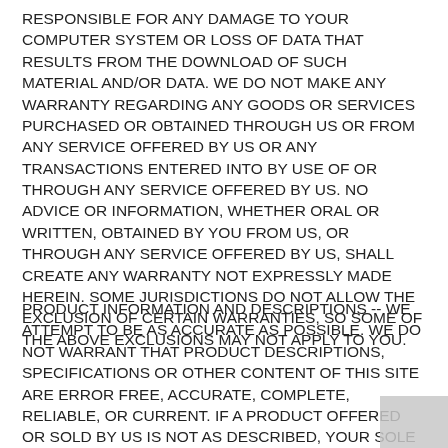RESPONSIBLE FOR ANY DAMAGE TO YOUR COMPUTER SYSTEM OR LOSS OF DATA THAT RESULTS FROM THE DOWNLOAD OF SUCH MATERIAL AND/OR DATA. WE DO NOT MAKE ANY WARRANTY REGARDING ANY GOODS OR SERVICES PURCHASED OR OBTAINED THROUGH US OR FROM ANY SERVICE OFFERED BY US OR ANY TRANSACTIONS ENTERED INTO BY USE OF OR THROUGH ANY SERVICE OFFERED BY US. NO ADVICE OR INFORMATION, WHETHER ORAL OR WRITTEN, OBTAINED BY YOU FROM US, OR THROUGH ANY SERVICE OFFERED BY US, SHALL CREATE ANY WARRANTY NOT EXPRESSLY MADE HEREIN. SOME JURISDICTIONS DO NOT ALLOW THE EXCLUSION OF CERTAIN WARRANTIES, SO SOME OF THE ABOVE EXCLUSIONS MAY NOT APPLY TO YOU.
PRODUCT INFORMATION AND DESCRIPTIONS -- WE ATTEMPT TO BE AS ACCURATE AS POSSIBLE. WE DO NOT WARRANT THAT PRODUCT DESCRIPTIONS, SPECIFICATIONS OR OTHER CONTENT OF THIS SITE ARE ERROR FREE, ACCURATE, COMPLETE, RELIABLE, OR CURRENT. IF A PRODUCT OFFERED OR SOLD BY US IS NOT AS DESCRIBED, YOUR SOLE REMEDY IS TO RETURN IT IN UNUSED CONDITION IN ACCORDANCE WITH OUR RETURN POLICY.